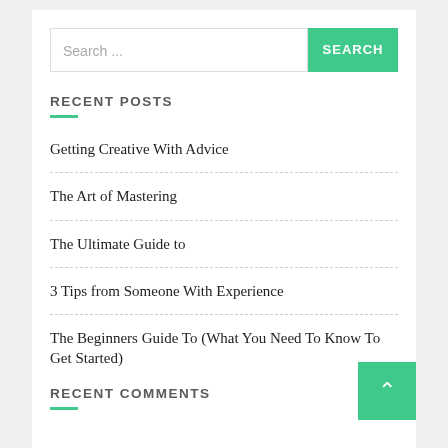Search ...
RECENT POSTS
Getting Creative With Advice
The Art of Mastering
The Ultimate Guide to
3 Tips from Someone With Experience
The Beginners Guide To (What You Need To Know To Get Started)
RECENT COMMENTS